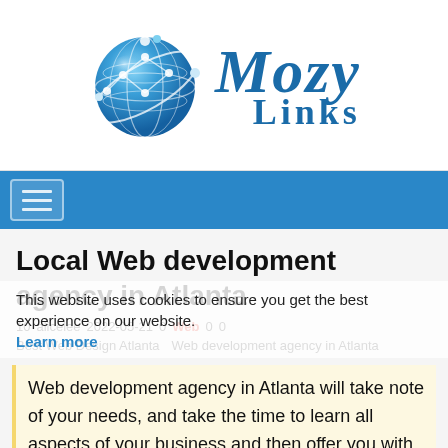[Figure (logo): MozyLinks logo with blue globe graphic and italic serif text 'Mozy Links']
[Figure (other): Blue navigation bar with hamburger menu button (three horizontal lines)]
Local Web development agency in Atlanta
This website uses cookies to ensure you get the best experience on our website. Learn more
10  alicelee  2022-05-21  0  Web  0  0
Best Web Design Atlanta   Web development agency in Atlanta
Web development agency in Atlanta will take note of your needs, and take the time to learn all aspects of your business and then offer you with the top design services. Visit Blue Light Labs once...